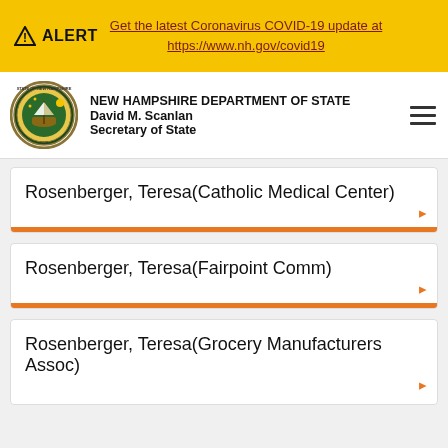ALERT  Get the latest Coronavirus COVID-19 update at https://www.nh.gov/covid19
[Figure (logo): New Hampshire Department of State seal with text: NEW HAMPSHIRE DEPARTMENT OF STATE, David M. Scanlan, Secretary of State]
Rosenberger, Teresa(Catholic Medical Center)
Rosenberger, Teresa(Fairpoint Comm)
Rosenberger, Teresa(Grocery Manufacturers Assoc)